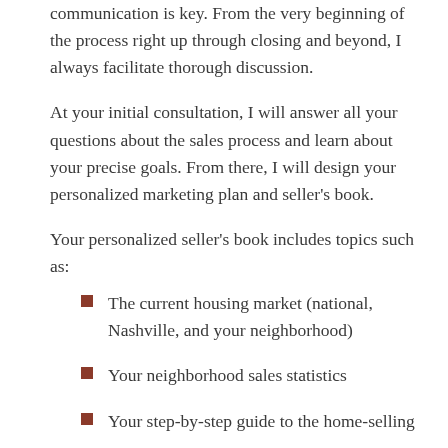communication is key. From the very beginning of the process right up through closing and beyond, I always facilitate thorough discussion.
At your initial consultation, I will answer all your questions about the sales process and learn about your precise goals. From there, I will design your personalized marketing plan and seller's book.
Your personalized seller's book includes topics such as:
The current housing market (national, Nashville, and your neighborhood)
Your neighborhood sales statistics
Your step-by-step guide to the home-selling